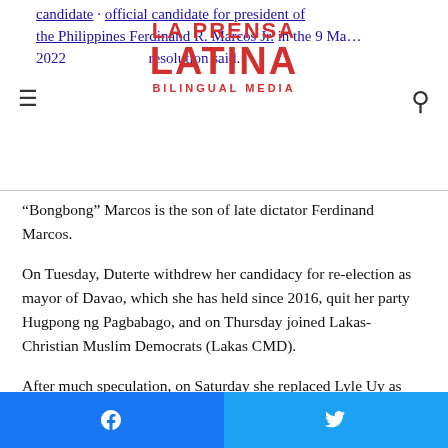La Prensa Latina Bilingual Media
candidate for president of the Philippines Ferdinand R. Marcos Jr. in the 9 May 2022 election, a resolution said.
“Bongbong” Marcos is the son of late dictator Ferdinand Marcos.
On Tuesday, Duterte withdrew her candidacy for re-election as mayor of Davao, which she has held since 2016, quit her party Hugpong ng Pagbabago, and on Thursday joined Lakas-Christian Muslim Democrats (Lakas CMD).
After much speculation, on Saturday she replaced Lyle Uy as Lakas-CMD’s candidate for vice president.
The 43-year-old was by all polls the favorite if she had decided
Facebook share | Twitter share